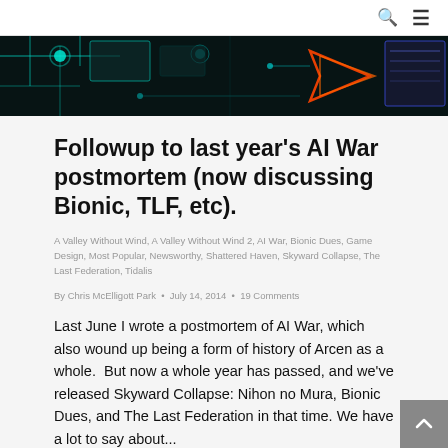🔍 ☰
[Figure (illustration): Dark teal/black sci-fi themed banner image with glowing neon circuit board patterns in cyan, orange/red, and blue colors]
Followup to last year's AI War postmortem (now discussing Bionic, TLF, etc).
A Valley Without Wind, A Valley Without Wind 2, AI War, Bionic Dues, Game Design, Most Popular, Newsworthy, Shattered Haven, Skyward Collapse, The Last Federation, Tidalis
By Chris McElligott Park · July 14, 2014 · 19 Comments
Last June I wrote a postmortem of AI War, which also wound up being a form of history of Arcen as a whole.  But now a whole year has passed, and we've released Skyward Collapse: Nihon no Mura, Bionic Dues, and The Last Federation in that time. We have a lot to say about...